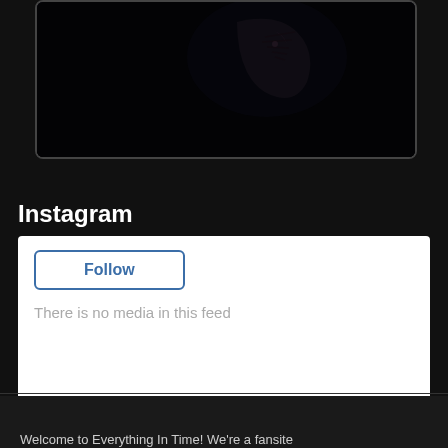[Figure (photo): Dark image frame showing a person with face/body painting or tattoos against a dark background, partially visible at the top of the page]
Instagram
[Figure (screenshot): Instagram widget embed showing a Follow button and 'There is no media in this feed' message]
ABOUT
Welcome to Everything In Time! We're a fansite